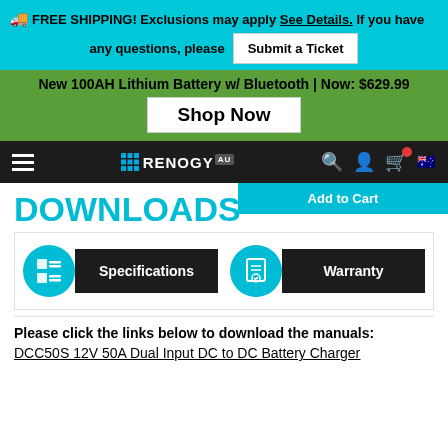🚛 FREE SHIPPING! Exclusions may apply See Details. If you have any questions, please Submit a Ticket
New 100AH Lithium Battery w/ Bluetooth | Now: $629.99
Shop Now
RENOGY AU
Add to Cart
DOWNLOADS
Specifications
Warranty
Please click the links below to download the manuals:
DCC50S 12V 50A Dual Input DC to DC Battery Charger